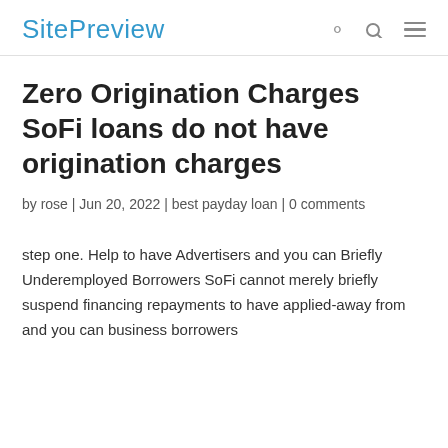SitePreview
Zero Origination Charges SoFi loans do not have origination charges
by rose | Jun 20, 2022 | best payday loan | 0 comments
step one. Help to have Advertisers and you can Briefly Underemployed Borrowers SoFi cannot merely briefly suspend financing repayments to have applied-away from and you can business borrowers